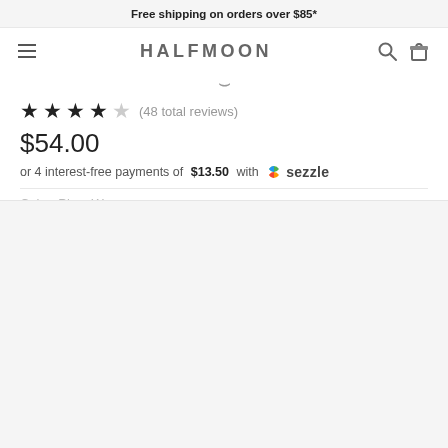Free shipping on orders over $85*
HALFMOON
★★★★☆ (48 total reviews)
$54.00
or 4 interest-free payments of $13.50 with Sezzle
Color: Plum Weave